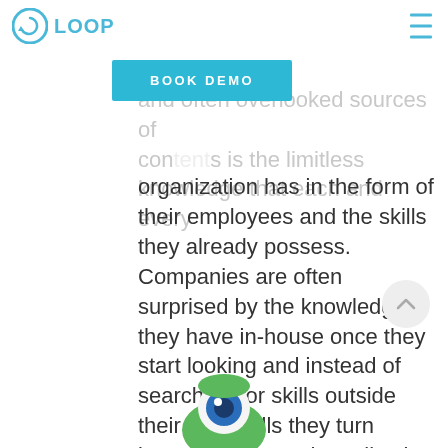LOOP
think that one of the most unused and often overlooked sources of competitive advantage is the limitless knowledge that each and every organization has in the form of their employees and the skills they already possess. Companies are often surprised by the knowledge they have in-house once they start looking and instead of searching for skills outside their own walls they turn inwards and use the collective competence to fuel the workforce with new skills and capabilities.
[Figure (screenshot): BOOK DEMO button overlay in teal/cyan color]
[Figure (illustration): Cartoon monster character partially visible at bottom of page]